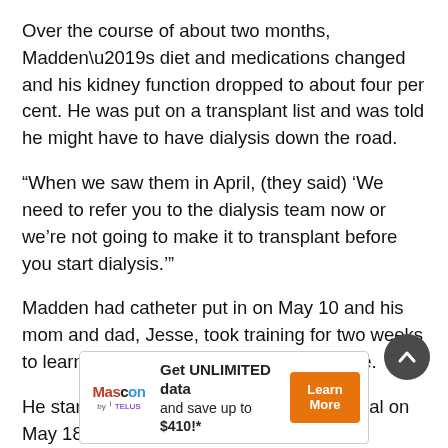Over the course of about two months, Madden’s diet and medications changed and his kidney function dropped to about four per cent. He was put on a transplant list and was told he might have to have dialysis down the road.
“When we saw them in April, (they said) ‘We need to refer you to the dialysis team now or we’re not going to make it to transplant before you start dialysis.’”
Madden had catheter put in on May 10 and his mom and dad, Jesse, took training for two weeks to learn how to administer dialysis at home.
He started dialysis at BC Children’s Hospital on May 18
[Figure (infographic): Advertisement banner for Mascon by TELUS. Text reads: Get UNLIMITED data and save up to $410!* with a Learn More button in orange.]